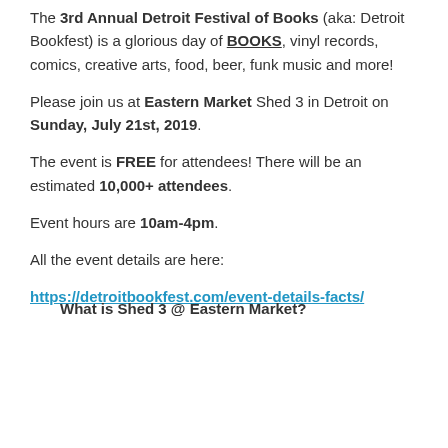The 3rd Annual Detroit Festival of Books (aka: Detroit Bookfest) is a glorious day of BOOKS, vinyl records, comics, creative arts, food, beer, funk music and more!
Please join us at Eastern Market Shed 3 in Detroit on Sunday, July 21st, 2019.
The event is FREE for attendees! There will be an estimated 10,000+ attendees.
Event hours are 10am-4pm.
All the event details are here:
https://detroitbookfest.com/event-details-facts/
What is Shed 3 @ Eastern Market?